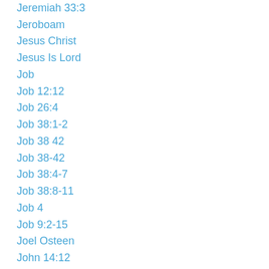Jeremiah 33:3
Jeroboam
Jesus Christ
Jesus Is Lord
Job
Job 12:12
Job 26:4
Job 38:1-2
Job 38 42
Job 38-42
Job 38:4-7
Job 38:8-11
Job 4
Job 9:2-15
Joel Osteen
John 14:12
John 16:23-24
John 16:7 11
John 16711cf464073ef
John 3:3
John 4